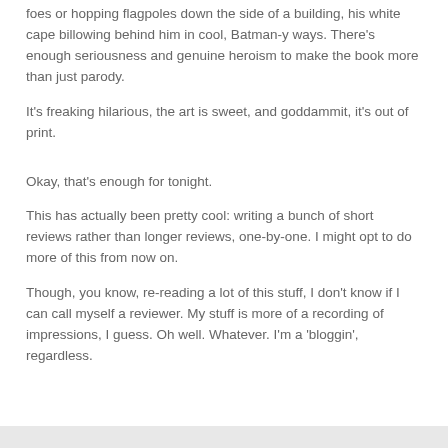foes or hopping flagpoles down the side of a building, his white cape billowing behind him in cool, Batman-y ways. There's enough seriousness and genuine heroism to make the book more than just parody.
It's freaking hilarious, the art is sweet, and goddammit, it's out of print.
Okay, that's enough for tonight.
This has actually been pretty cool: writing a bunch of short reviews rather than longer reviews, one-by-one. I might opt to do more of this from now on.
Though, you know, re-reading a lot of this stuff, I don't know if I can call myself a reviewer. My stuff is more of a recording of impressions, I guess. Oh well. Whatever. I'm a 'bloggin', regardless.